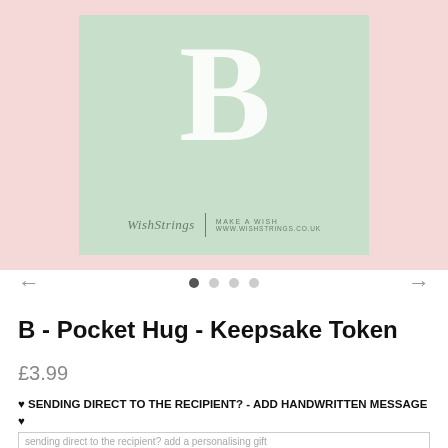[Figure (photo): Product image of a mint green keepsake token card with a large white letter B and WishStrings branding, displayed on a pink background]
B - Pocket Hug - Keepsake Token
£3.99
♥ SENDING DIRECT TO THE RECIPIENT? - ADD HANDWRITTEN MESSAGE ♥
sending direct to the recipient?  add a personalising gift